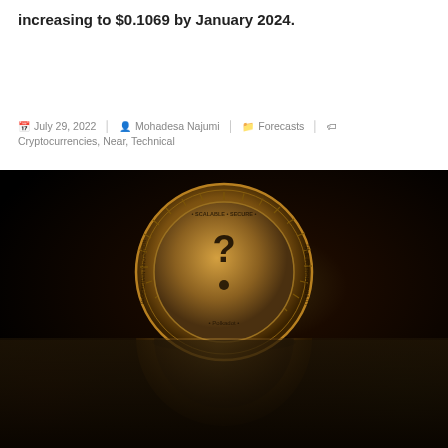increasing to $0.1069 by January 2024.
July 29, 2022   Mohadesa Najumi   Forecasts   Cryptocurrencies, Near, Technical
[Figure (photo): A golden Polkadot cryptocurrency coin standing upright on a reflective dark surface with red glow on the left and green glow on the right. The coin features text reading SCALABLE, SECURE, TRUE INTEROPERABILITY, BLOCKCHAIN INNOVATION and a question mark logo in the center. The coin is reflected in the surface below.]